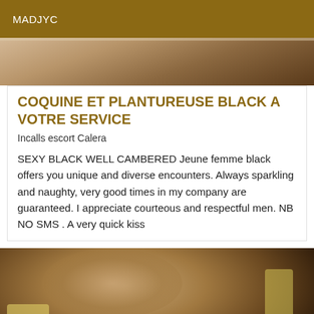MADJYC
[Figure (photo): Partial photo of a person, cropped at top]
COQUINE ET PLANTUREUSE BLACK A VOTRE SERVICE
Incalls escort Calera
SEXY BLACK WELL CAMBERED Jeune femme black offers you unique and diverse encounters. Always sparkling and naughty, very good times in my company are guaranteed. I appreciate courteous and respectful men. NB NO SMS . A very quick kiss
[Figure (photo): Close-up photo of a person smiling, wearing yellow top]